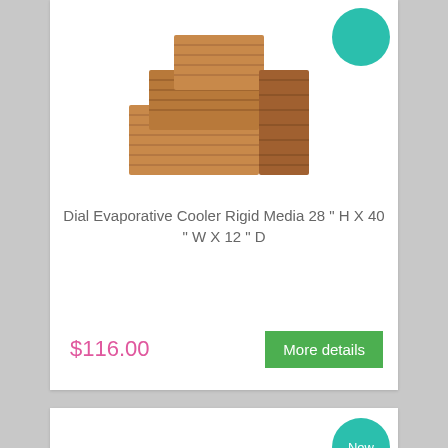[Figure (photo): Product photo of a Dial Evaporative Cooler Rigid Media block, brownish corrugated material stacked in steps, with a teal circular badge in the top right corner]
Dial Evaporative Cooler Rigid Media 28 " H X 40 " W X 12 " D
$116.00
More details
[Figure (photo): Product photo of a Garmin GPS navigation device with a map displayed on screen, with a teal circular badge labeled 'New' in the top right corner]